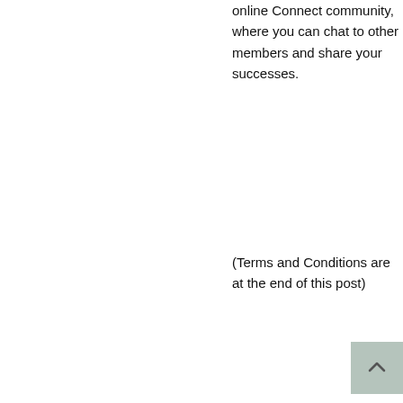online Connect community, where you can chat to other members and share your successes.
(Terms and Conditions are at the end of this post)
Rachel Grunwell is a Wellness columnist for Good Magazine and also Juno Investing Magazine. She is also the